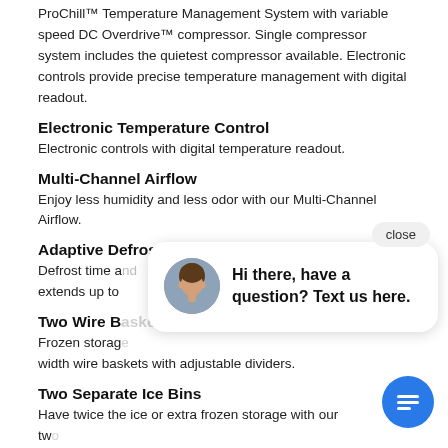ProChill™ Temperature Management System with variable speed DC Overdrive™ compressor. Single compressor system includes the quietest compressor available. Electronic controls provide precise temperature management with digital readout.
Electronic Temperature Control
Electronic controls with digital temperature readout.
Multi-Channel Airflow
Enjoy less humidity and less odor with our Multi-Channel Airflow.
Adaptive Defrost
Defrost time and extends up to...
Two Wire B...
Frozen storage width wire baskets with adjustable dividers.
Two Separate Ice Bins
Have twice the ice or extra frozen storage with our two separate ice pans.
[Figure (other): Chat widget overlay with close button, avatar photo of a woman, and message 'Hi there, have a question? Text us here.' with a blue circular chat icon button.]